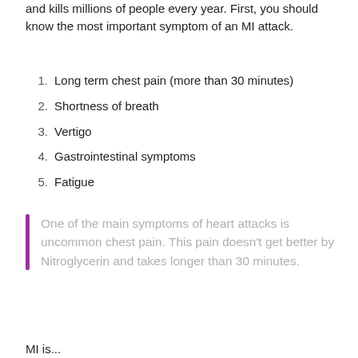and kills millions of people every year. First, you should know the most important symptom of an MI attack.
Long term chest pain (more than 30 minutes)
Shortness of breath
Vertigo
Gastrointestinal symptoms
Fatigue
One of the main symptoms of heart attacks is uncommon chest pain. This pain doesn't get better by Nitroglycerin and takes longer than 30 minutes.
MI is...